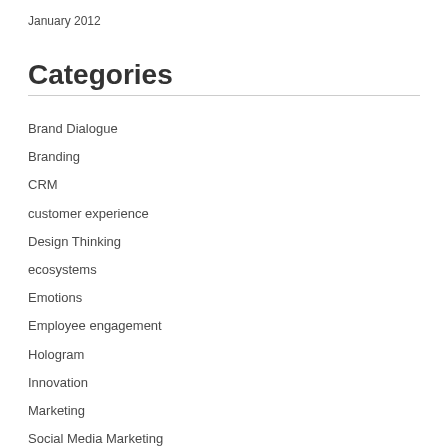January 2012
Categories
Brand Dialogue
Branding
CRM
customer experience
Design Thinking
ecosystems
Emotions
Employee engagement
Hologram
Innovation
Marketing
Social Media Marketing